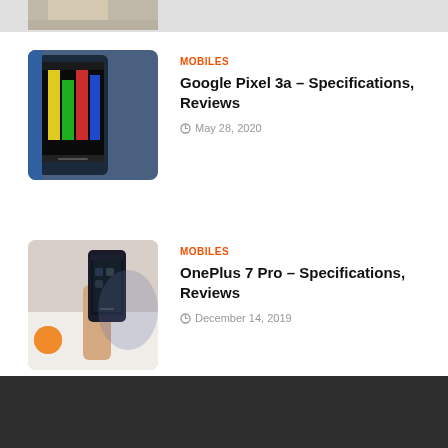[Figure (photo): Partial image of a phone or product at the top of the page, cropped]
[Figure (photo): Google Pixel 3a smartphone showing colorful wallpaper on screen]
MOBILES
Google Pixel 3a – Specifications, Reviews
May 28, 2020
[Figure (photo): Hand holding OnePlus 7 Pro smartphone, orange fruit visible in background]
MOBILES
OnePlus 7 Pro – Specifications, Reviews
December 14, 2019